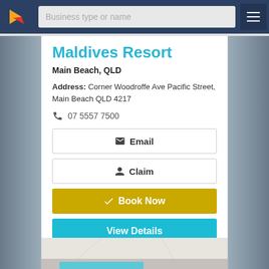Business type or name
Maldives Resort
Main Beach, QLD
Address: Corner Woodroffe Ave Pacific Street, Main Beach QLD 4217
07 5557 7500
Email
Claim
Book Now
View Details
[Figure (photo): Bottom portion of an interior room photo showing ceiling and partial bed/blue surface]